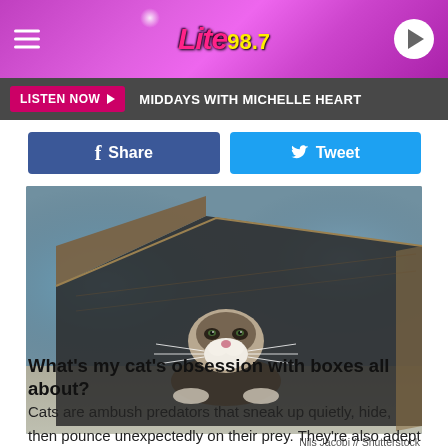Lite 98.7
LISTEN NOW ▶  MIDDAYS WITH MICHELLE HEART
[Figure (other): Facebook Share button and Twitter Tweet button side by side]
[Figure (photo): A cat peeking out from underneath a cardboard box, looking directly at camera, with whiskers visible. Photo credit: Nils Jacobi // Shutterstock]
Nils Jacobi // Shutterstock
What's my cat's obsession with boxes all about?
Cats are ambush predators that sneak up quietly, hide, then pounce unexpectedly on their prey. They're also adept at hiding in dark, closed spaces when larger predators stalk